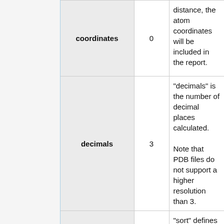|  | Parameter | Default | Description |
| --- | --- | --- | --- |
|  | coordinates | 0 | distance, the atom coordinates will be included in the report. |
|  | decimals | 3 | "decimals" is the number of decimal places calculated.
Note that PDB files do not support a higher resolution than 3. |
|  | sort | 1 | "sort" defines how the output will be sorted:
1: ascending (default) |